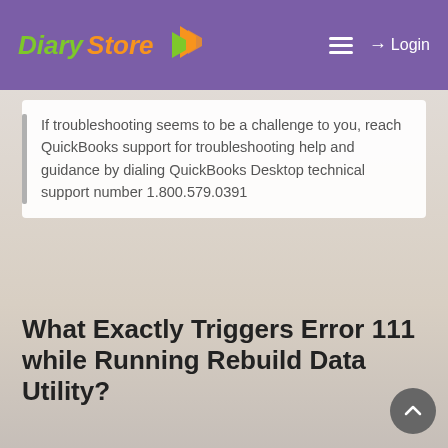Diary Store — Login
If troubleshooting seems to be a challenge to you, reach QuickBooks support for troubleshooting help and guidance by dialing QuickBooks Desktop technical support number 1.800.579.0391
What Exactly Triggers Error 111 while Running Rebuild Data Utility?
There are not several reasons for getting error in QuickBooks, and the only reason is the damage in the paycheck data. To resolve issues that arise